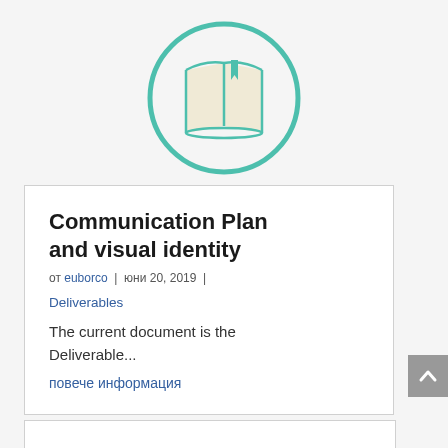[Figure (illustration): Open book icon with teal bookmark inside a teal circle outline]
Communication Plan and visual identity
от euborco | юни 20, 2019 |
Deliverables
The current document is the Deliverable...
повече информация